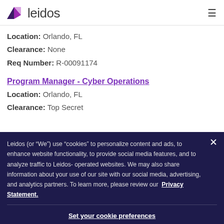leidos
Location: Orlando, FL
Clearance: None
Req Number: R-00091174
Program Manager - Cyber Operations
Location: Orlando, FL
Clearance: Top Secret
Leidos (or “We”) use “cookies” to personalize content and ads, to enhance website functionality, to provide social media features, and to analyze traffic to Leidos-operated websites. We may also share information about your use of our site with our social media, advertising, and analytics partners. To learn more, please review our Privacy Statement.
Set your cookie preferences